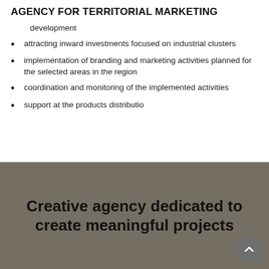AGENCY FOR TERRITORIAL MARKETING
development
attracting inward investments focused on industrial clusters
implementation of branding and marketing activities planned for the selected areas in the region
coordination and monitoring of the implemented activities
support at the products distributio
Creative agency dedicated to create meaningful projects